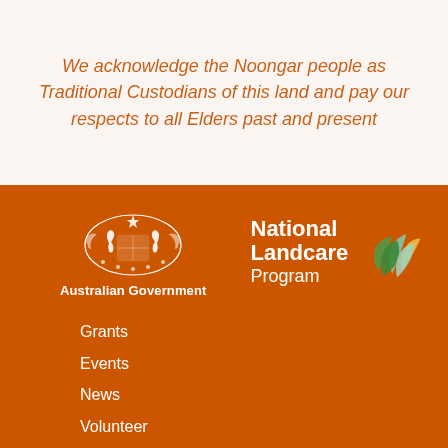We acknowledge the Noongar people as Traditional Custodians of this land and pay our respects to all Elders past and present
[Figure (logo): Australian Government coat of arms logo with text 'Australian Government' and National Landcare Program logo with leaf icon]
Grants
Events
News
Volunteer
Donate
Our Strategy